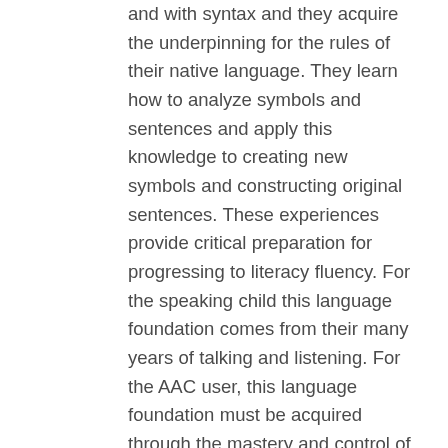and with syntax and they acquire the underpinning for the rules of their native language. They learn how to analyze symbols and sentences and apply this knowledge to creating new symbols and constructing original sentences. These experiences provide critical preparation for progressing to literacy fluency. For the speaking child this language foundation comes from their many years of talking and listening. For the AAC user, this language foundation must be acquired through the mastery and control of their expressive AAC communication being added to and refining their listening. This can be achieved through experiences with the dual structure of Blissymbolics. Duality provides the valuable